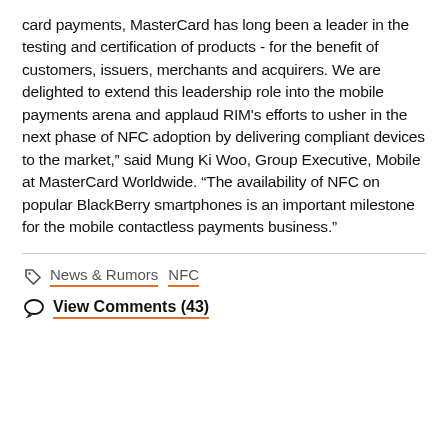card payments, MasterCard has long been a leader in the testing and certification of products - for the benefit of customers, issuers, merchants and acquirers. We are delighted to extend this leadership role into the mobile payments arena and applaud RIM’s efforts to usher in the next phase of NFC adoption by delivering compliant devices to the market,” said Mung Ki Woo, Group Executive, Mobile at MasterCard Worldwide. "The availability of NFC on popular BlackBerry smartphones is an important milestone for the mobile contactless payments business."
News & Rumors  NFC
View Comments (43)